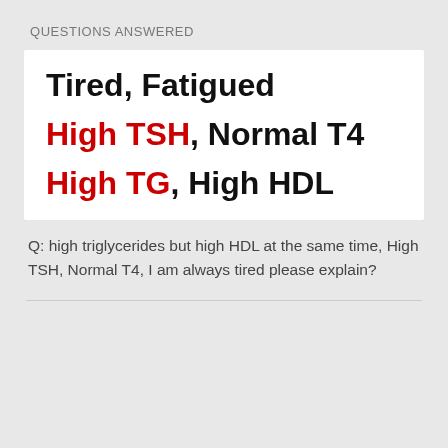QUESTIONS ANSWERED
Tired, Fatigued
High TSH, Normal T4
High TG, High HDL
Q: high triglycerides but high HDL at the same time, High TSH, Normal T4, I am always tired please explain?